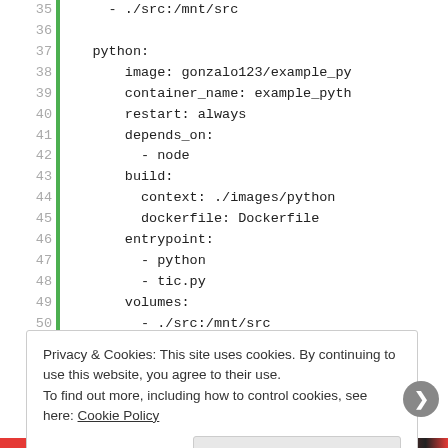35  ./src:/mnt/src
36
37    python:
38        image: gonzalo123/example_py
39        container_name: example_pyth
40        restart: always
41        depends_on:
42          - node
43        build:
44          context: ./images/python
45          dockerfile: Dockerfile
46        entrypoint:
47          - python
48          - tic.py
49        volumes:
50          - ./src:/mnt/src
Privacy & Cookies: This site uses cookies. By continuing to use this website, you agree to their use.
To find out more, including how to control cookies, see here: Cookie Policy
Close and accept